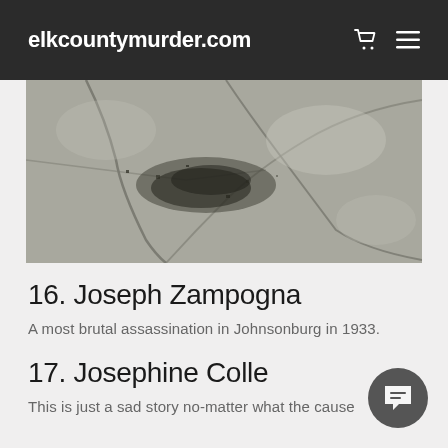elkcountymurder.com
[Figure (photo): Close-up photo of a cracked, weathered stone or concrete surface with dark spots and stains, in grayscale tones.]
16. Joseph Zampogna
A most brutal assassination in Johnsonburg in 1933.
17. Josephine Colle
This is just a sad story no-matter what the cause